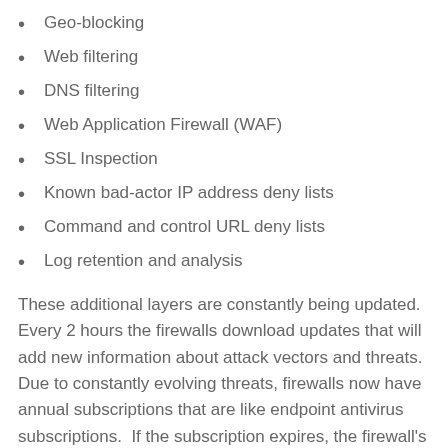Geo-blocking
Web filtering
DNS filtering
Web Application Firewall (WAF)
SSL Inspection
Known bad-actor IP address deny lists
Command and control URL deny lists
Log retention and analysis
These additional layers are constantly being updated.  Every 2 hours the firewalls download updates that will add new information about attack vectors and threats.  Due to constantly evolving threats, firewalls now have annual subscriptions that are like endpoint antivirus subscriptions.  If the subscription expires, the firewall’s data becomes stale and cannot take advantage of threat intelligence.